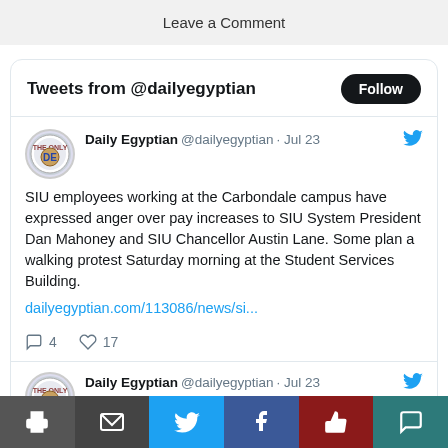Leave a Comment
Tweets from @dailyegyptian
Daily Egyptian @dailyegyptian · Jul 23
SIU employees working at the Carbondale campus have expressed anger over pay increases to SIU System President Dan Mahoney and SIU Chancellor Austin Lane. Some plan a walking protest Saturday morning at the Student Services Building.
dailyegyptian.com/113086/news/si...
4  17
Daily Egyptian @dailyegyptian · Jul 23